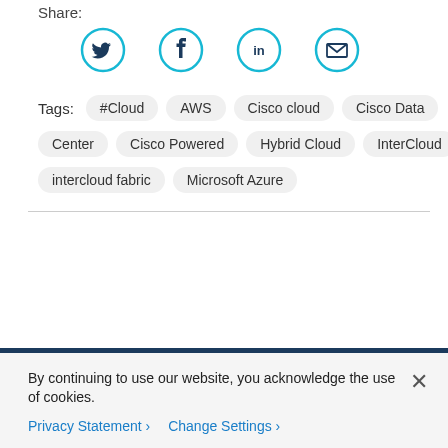Share:
[Figure (illustration): Social sharing icons: Twitter (bird), Facebook (f), LinkedIn (in), Email (envelope) — each in a cyan circle outline]
Tags: #Cloud  AWS  Cisco cloud  Cisco Data Center  Cisco Powered  Hybrid Cloud  InterCloud  intercloud fabric  Microsoft Azure
By continuing to use our website, you acknowledge the use of cookies.
Privacy Statement >  Change Settings >